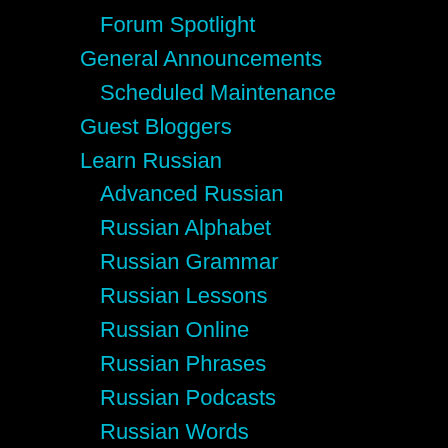Forum Spotlight
General Announcements
Scheduled Maintenance
Guest Bloggers
Learn Russian
Advanced Russian
Russian Alphabet
Russian Grammar
Russian Lessons
Russian Online
Russian Phrases
Russian Podcasts
Russian Words
Tips & Techniques
Living in Russia